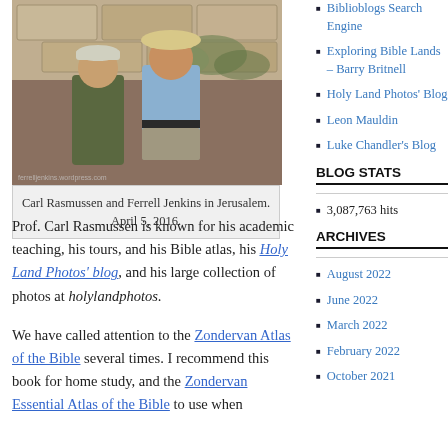[Figure (photo): Photo of Carl Rasmussen and Ferrell Jenkins standing together outdoors in Jerusalem, with stone walls in background]
Carl Rasmussen and Ferrell Jenkins in Jerusalem. April 5, 2016.
Prof. Carl Rasmussen is known for his academic teaching, his tours, and his Bible atlas, his Holy Land Photos' blog, and his large collection of photos at holylandphotos.
We have called attention to the Zondervan Atlas of the Bible several times. I recommend this book for home study, and the Zondervan Essential Atlas of the Bible to use when
Biblioblogs Search Engine
Exploring Bible Lands – Barry Britnell
Holy Land Photos' Blog
Leon Mauldin
Luke Chandler's Blog
BLOG STATS
3,087,763 hits
ARCHIVES
August 2022
June 2022
March 2022
February 2022
October 2021